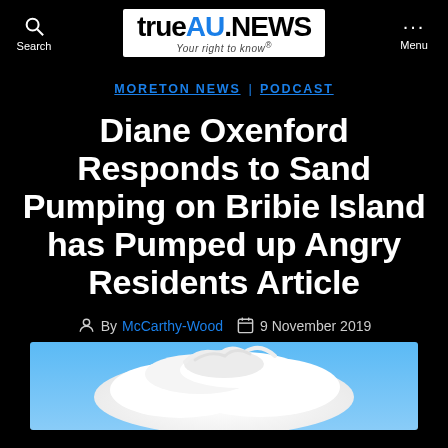trueAU.NEWS — Your right to know® | Search | Menu
MORETON NEWS  PODCAST
Diane Oxenford Responds to Sand Pumping on Bribie Island has Pumped up Angry Residents Article
By McCarthy-Wood  9 November 2019
[Figure (photo): Aerial or outdoor photo showing white sandy/foamy material against a blue sky background, likely depicting sand pumping activity near Bribie Island.]